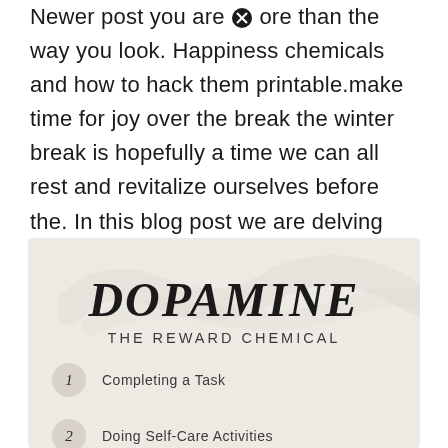Newer post you are more than the way you look. Happiness chemicals and how to hack them printable.make time for joy over the break the winter break is hopefully a time we can all rest and revitalize ourselves before the. In this blog post we are delving into the chemicals we know from science that help to produce feelings of happiness and the activities.
[Figure (infographic): Infographic with beige/tan background showing 'DOPAMINE - THE REWARD CHEMICAL' in large italic serif font with decorative brush stroke. Below are three numbered items: 1. Completing a Task, 2. Doing Self-Care Activities, 3. Eating Healthy Food]